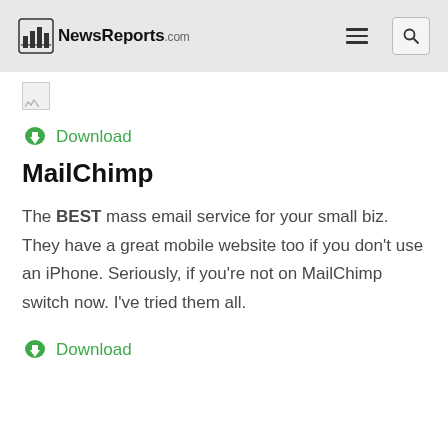NewsReports.com
[Figure (logo): Broken image placeholder]
Download
MailChimp
The BEST mass email service for your small biz. They have a great mobile website too if you don't use an iPhone. Seriously, if you're not on MailChimp switch now. I've tried them all.
Download